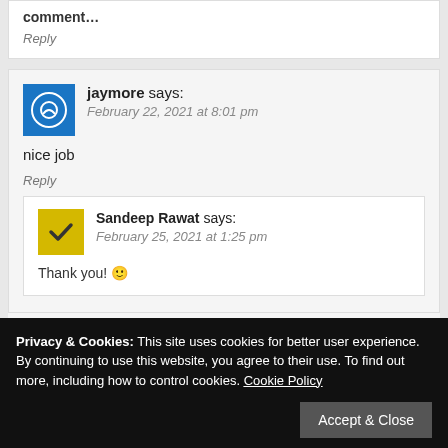comment...
Reply
jaymore says: February 22, 2021 at 8:01 pm
nice job
Reply
Sandeep Rawat says: February 25, 2021 at 1:25 pm
Thank you! 🙂
Privacy & Cookies: This site uses cookies for better user experience. By continuing to use this website, you agree to their use. To find out more, including how to control cookies. Cookie Policy
Accept & Close
ishaq072 says: